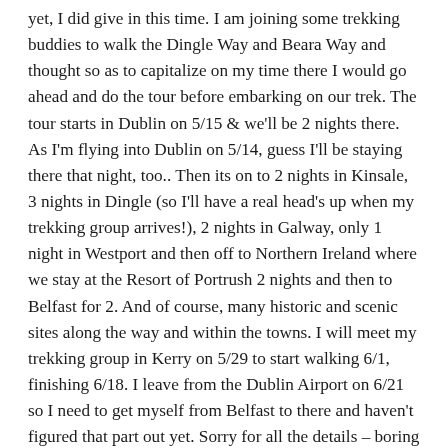yet, I did give in this time. I am joining some trekking buddies to walk the Dingle Way and Beara Way and thought so as to capitalize on my time there I would go ahead and do the tour before embarking on our trek. The tour starts in Dublin on 5/15 & we'll be 2 nights there. As I'm flying into Dublin on 5/14, guess I'll be staying there that night, too.. Then its on to 2 nights in Kinsale, 3 nights in Dingle (so I'll have a real head's up when my trekking group arrives!), 2 nights in Galway, only 1 night in Westport and then off to Northern Ireland where we stay at the Resort of Portrush 2 nights and then to Belfast for 2. And of course, many historic and scenic sites along the way and within the towns. I will meet my trekking group in Kerry on 5/29 to start walking 6/1, finishing 6/18. I leave from the Dublin Airport on 6/21 so I need to get myself from Belfast to there and haven't figured that part out yet. Sorry for all the details – boring to your other readers, no doubt. I am so excited though and knew you lived in Ireland and was happy to see this post! Hopefully you won't judge me too negatively for invading your country at times by